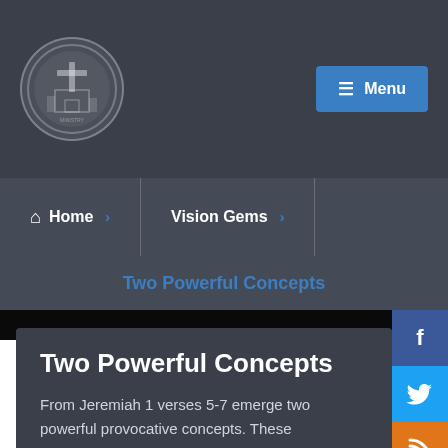[Figure (logo): Circular church/organization logo with building and cross imagery, partially transparent on dark background]
Menu
Home › Vision Gems ›
Two Powerful Concepts
Two Powerful Concepts
From Jeremiah 1 verses 5-7 emerge two powerful provocative concepts. These